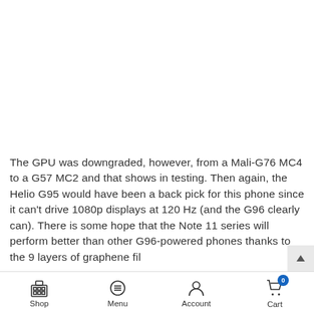The GPU was downgraded, however, from a Mali-G76 MC4 to a G57 MC2 and that shows in testing. Then again, the Helio G95 would have been a back pick for this phone since it can't drive 1080p displays at 120 Hz (and the G96 clearly can). There is some hope that the Note 11 series will perform better than other G96-powered phones thanks to the 9 layers of graphene fil
Shop | Menu | Account | Cart (0)